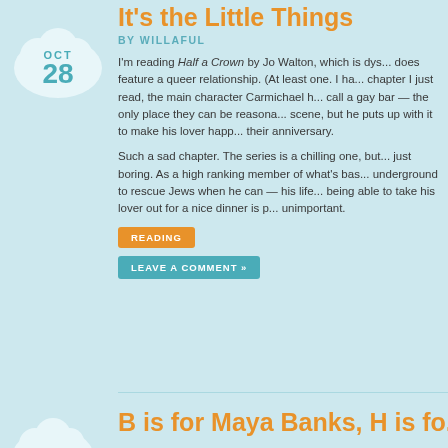[Figure (illustration): Cloud-shaped badge with OCT 28 date in teal]
It's the Little Things
BY WILLAFUL
I'm reading Half a Crown by Jo Walton, which is dys... does feature a queer relationship. (At least one. I ha... chapter I just read, the main character Carmichael h... call a gay bar — the only place they can be reasona... scene, but he puts up with it to make his lover happ... their anniversary.
Such a sad chapter. The series is a chilling one, but... just boring. As a high ranking member of what's bas... underground to rescue Jews when he can — his life... being able to take his lover out for a nice dinner is p... unimportant.
READING
LEAVE A COMMENT »
B is for Maya Banks, H is fo...